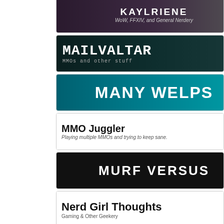[Figure (illustration): KAYLRIENE blog banner - WoW, FFXIV, and General Nerdery]
[Figure (illustration): MAILVALTAR blog banner - MMOs and other stuff]
[Figure (illustration): MANY WELPS blog banner - teal background]
[Figure (illustration): MMO Juggler blog banner - Playing multiple MMOs and trying to keep sane.]
[Figure (illustration): MURF VERSUS blog banner - black background]
[Figure (illustration): Nerd Girl Thoughts - Gaming & Other Geekery]
[Figure (illustration): Nomadic Gamers, eh! blog banner - dark background with green text]
[Figure (illustration): The Nosy Gamer blog banner - brown background]
[Figure (illustration): Shards of Imagination blog banner]
[Figure (illustration): Tales of the Aggronaut blog banner - colorful text on dark background]
[Figure (illustration): The Ancient Gaming Noob blog banner - blue background]